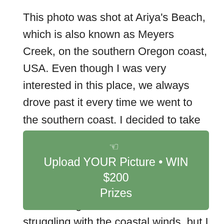This photo was shot at Ariya's Beach, which is also known as Meyers Creek, on the southern Oregon coast, USA. Even though I was very interested in this place, we always drove past it every time we went to the southern coast. I decided to take a trip to the southern Oregon coast again this summer, so I finally stopped there, and decided to shoot from the beach at sunset. I was there two evenings in a row. I was struggling with the coastal winds, but I was able to capture an absolutely beautiful sunset with the wild Sweet Pea flowers.
☞  Upload YOUR Picture • WIN $200 Prizes